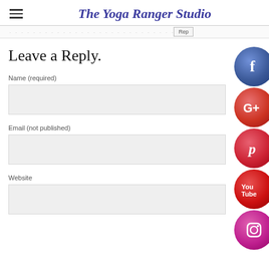The Yoga Ranger Studio
Leave a Reply.
Name (required)
Email (not published)
Website
[Figure (illustration): Five social media icons stacked vertically on the right side: Facebook (blue), Google+ (red), Pinterest (red), YouTube (red), Instagram (pink/magenta)]